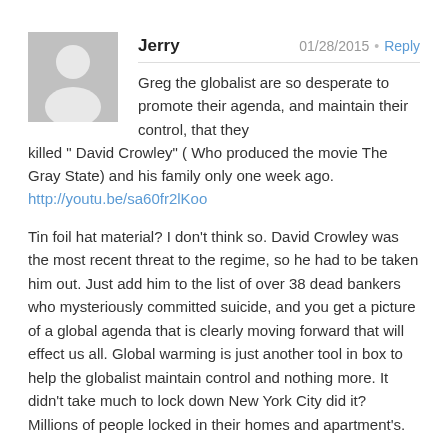Jerry  01/28/2015 • Reply
Greg the globalist are so desperate to promote their agenda, and maintain their control, that they killed " David Crowley" ( Who produced the movie The Gray State) and his family only one week ago.
http://youtu.be/sa60fr2lKoo
Tin foil hat material? I don't think so. David Crowley was the most recent threat to the regime, so he had to be taken him out. Just add him to the list of over 38 dead bankers who mysteriously committed suicide, and you get a picture of a global agenda that is clearly moving forward that will effect us all. Global warming is just another tool in box to help the globalist maintain control and nothing more. It didn't take much to lock down New York City did it? Millions of people locked in their homes and apartment's.
Greg, we are moving dangerously close to the end game, so I may not be posting for much longer. I really do appreciate all of the time you have invested in this site and for all the interviews